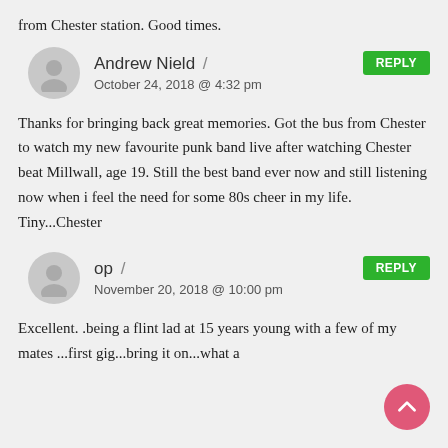from Chester station. Good times.
Andrew Nield
October 24, 2018 @ 4:32 pm
Thanks for bringing back great memories. Got the bus from Chester to watch my new favourite punk band live after watching Chester beat Millwall, age 19. Still the best band ever now and still listening now when i feel the need for some 80s cheer in my life. Tiny...Chester
op
November 20, 2018 @ 10:00 pm
Excellent. .being a flint lad at 15 years young with a few of my mates ...first gig...bring it on...what a